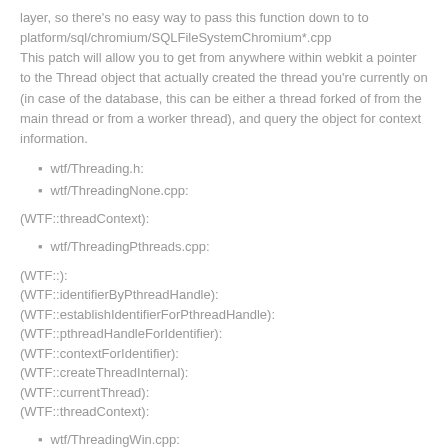layer, so there's no easy way to pass this function down to to platform/sql/chromium/SQLFileSystemChromium*.cpp
This patch will allow you to get from anywhere within webkit a pointer to the Thread object that actually created the thread you're currently on (in case of the database, this can be either a thread forked of from the main thread or from a worker thread), and query the object for context information.
wtf/Threading.h:
wtf/ThreadingNone.cpp:
(WTF::threadContext):
wtf/ThreadingPthreads.cpp:
(WTF::):
(WTF::identifierByPthreadHandle):
(WTF::establishIdentifierForPthreadHandle):
(WTF::pthreadHandleForIdentifier):
(WTF::contextForIdentifier):
(WTF::createThreadInternal):
(WTF::currentThread):
(WTF::threadContext):
wtf/ThreadingWin.cpp:
(WTF::):
(WTF::threadMap):
(WTF::storeThreadHandleByIdentifier):